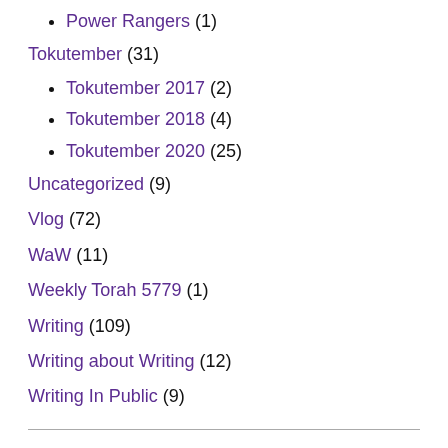Power Rangers (1)
Tokutember (31)
Tokutember 2017 (2)
Tokutember 2018 (4)
Tokutember 2020 (25)
Uncategorized (9)
Vlog (72)
WaW (11)
Weekly Torah 5779 (1)
Writing (109)
Writing about Writing (12)
Writing In Public (9)
Copyright © MJMunoz 2022. All rights reserved.